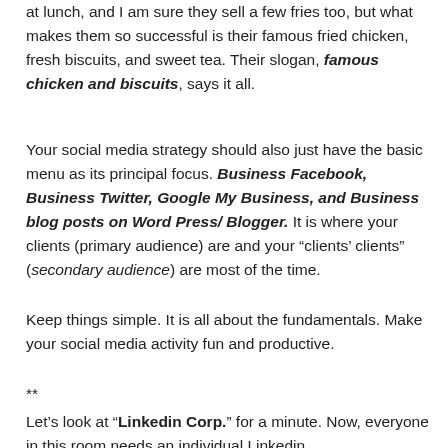at lunch, and I am sure they sell a few fries too, but what makes them so successful is their famous fried chicken, fresh biscuits, and sweet tea. Their slogan, famous chicken and biscuits, says it all.
Your social media strategy should also just have the basic menu as its principal focus. Business Facebook, Business Twitter, Google My Business, and Business blog posts on Word Press/ Blogger. It is where your clients (primary audience) are and your “clients’ clients” (secondary audience) are most of the time.
Keep things simple. It is all about the fundamentals. Make your social media activity fun and productive.
**
Let’s look at “Linkedin Corp.” for a minute. Now, everyone in this room needs an individual Linkedin